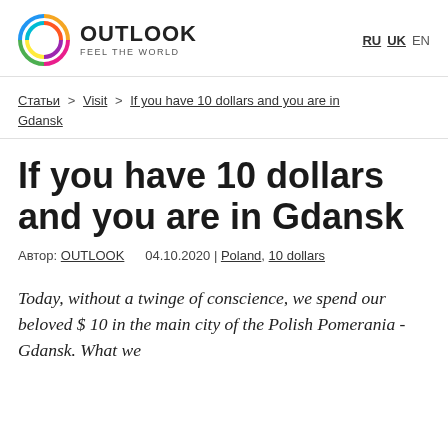OUTLOOK FEEL THE WORLD — RU UK EN
Статьи > Visit > If you have 10 dollars and you are in Gdansk
If you have 10 dollars and you are in Gdansk
Автор: OUTLOOK   04.10.2020 | Poland, 10 dollars
Today, without a twinge of conscience, we spend our beloved $ 10 in the main city of the Polish Pomerania - Gdansk. What we